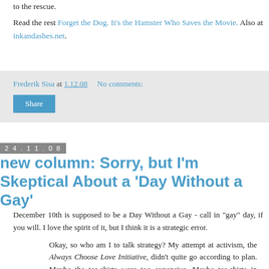to the rescue.
Read the rest Forget the Dog. It's the Hamster Who Saves the Movie. Also at inkandashes.net.
Frederik Sisa at 1.12.08   No comments:
Share
24.11.08
new column: Sorry, but I'm Skeptical About a 'Day Without a Gay'
December 10th is supposed to be a Day Without a Gay - call in "gay" day, if you will. I love the spirit of it, but I think it is a strategic error.
Okay, so who am I to talk strategy? My attempt at activism, the Always Choose Love Initiative, didn't quite go according to plan. Maybe the tee-shirts were too expensive. Maybe tee-shirts in general didn't suit